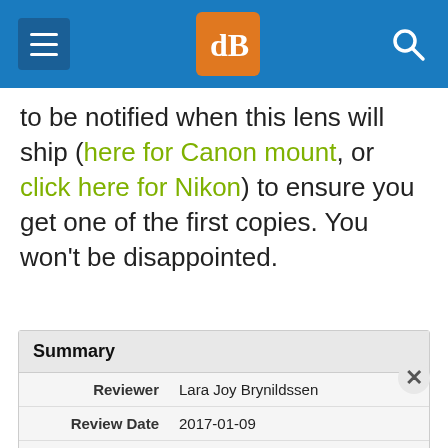dPS navigation header with hamburger menu, logo, and search icon
to be notified when this lens will ship (here for Canon mount, or click here for Nikon) to ensure you get one of the first copies. You won't be disappointed.
|  |  |
| --- | --- |
| Summary |  |
| Reviewer | Lara Joy Brynildssen |
| Review Date | 2017-01-09 |
| Reviewed Item | Review of the New Sigma 500mm F4 DG HSM OS Sport Lens |
| Author Rating | ★★★★★ |